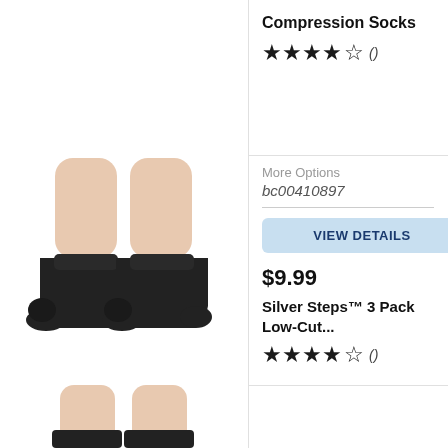Compression Socks
★★★★☆ ()
[Figure (photo): Two black ankle socks worn on legs against white background]
More Options
bc00410897
VIEW DETAILS
$9.99
Silver Steps™ 3 Pack Low-Cut...
★★★★☆ ()
[Figure (photo): Partial view of legs wearing black socks, cropped at bottom of page]